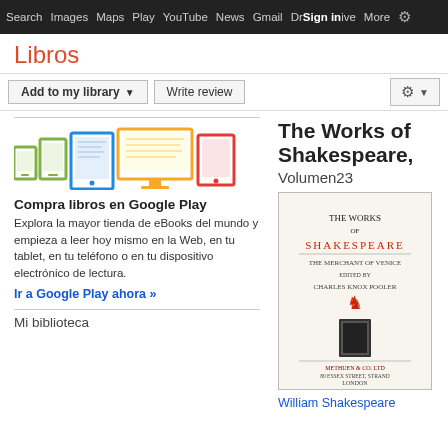Search  Images  Maps  Play  YouTube  News  Gmail  Drive  More  Sign in
Libros
Add to my library  Write review
[Figure (illustration): Device icons: phone, tablet, laptop, desktop monitor, e-reader in various colors (green, blue, yellow, red)]
Compra libros en Google Play
Explora la mayor tienda de eBooks del mundo y empieza a leer hoy mismo en la Web, en tu tablet, en tu teléfono o en tu dispositivo electrónico de lectura.
Ir a Google Play ahora »
Mi biblioteca
The Works of Shakespeare, Volumen23
[Figure (photo): Book cover of The Works of Shakespeare, The Merchant of Venice, edited by Charles Knox Pooler, published by Methuen & Co. Ltd, 80 Essex Street Strand, London]
William Shakespeare